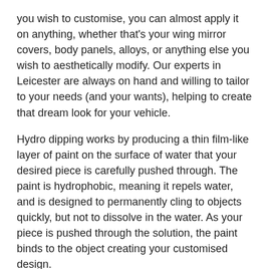you wish to customise, you can almost apply it on anything, whether that's your wing mirror covers, body panels, alloys, or anything else you wish to aesthetically modify. Our experts in Leicester are always on hand and willing to tailor to your needs (and your wants), helping to create that dream look for your vehicle.
Hydro dipping works by producing a thin film-like layer of paint on the surface of water that your desired piece is carefully pushed through. The paint is hydrophobic, meaning it repels water, and is designed to permanently cling to objects quickly, but not to dissolve in the water. As your piece is pushed through the solution, the paint binds to the object creating your customised design.
We dip many colours and patterns. These include, but certainly are not limited to:
Abstract